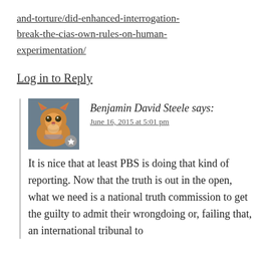and-torture/did-enhanced-interrogation-break-the-cias-own-rules-on-human-experimentation/
Log in to Reply
[Figure (photo): Avatar photo of a cat (corgi-colored tabby cat with a star badge in the bottom right corner)]
Benjamin David Steele says:
June 16, 2015 at 5:01 pm
It is nice that at least PBS is doing that kind of reporting. Now that the truth is out in the open, what we need is a national truth commission to get the guilty to admit their wrongdoing or, failing that, an international tribunal to